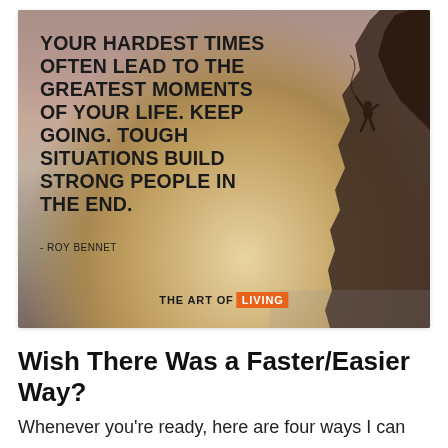[Figure (illustration): Motivational quote image with a sunset/ocean background and a silhouette of a person rock climbing on the right side. Quote reads: YOUR HARDEST TIMES OFTEN LEAD TO THE GREATEST MOMENTS OF YOUR LIFE. KEEP GOING. TOUGH SITUATIONS BUILD STRONG PEOPLE IN THE END. - ROY BENNET. Branded with THE ART OF LIVING.]
Wish There Was a Faster/Easier Way?
Whenever you're ready, here are four ways I can